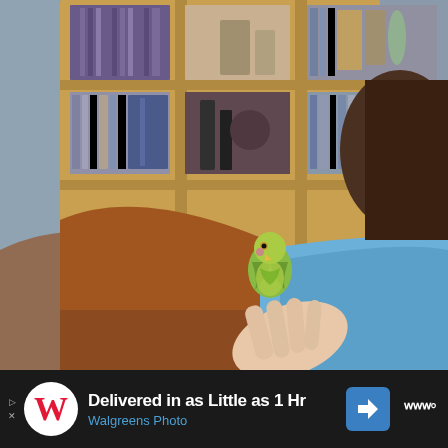[Figure (photo): A green budgerigar (parakeet) perched on a person's finger. The person is lying on a brown leather couch wearing a blue garment. In the background is a large wooden bookshelf filled with books, CDs, and decorative items.]
Delivered in as Little as 1 Hr
Walgreens Photo